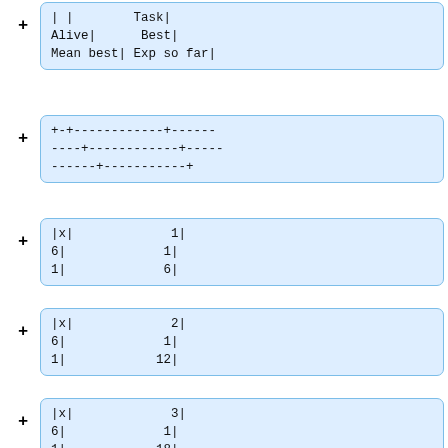| |        Task|
+ Alive|       Best|
  Mean best| Exp so far|
+-+------------+------
----+------------+-----
------+-----------+
|x|             1|
6|             1|
1|             6|
|x|             2|
6|             1|
1|            12|
|x|             3|
6|             1|
1|            18|
|x|             4|
6|             1|
1|            24|